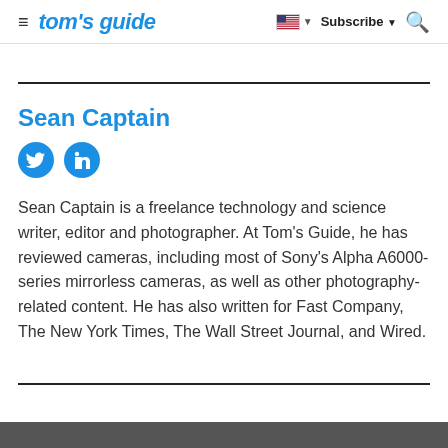tom's guide  |  Subscribe  🔍
Sean Captain
[Figure (logo): Twitter and LinkedIn social media icon circles in blue]
Sean Captain is a freelance technology and science writer, editor and photographer. At Tom's Guide, he has reviewed cameras, including most of Sony's Alpha A6000-series mirrorless cameras, as well as other photography-related content. He has also written for Fast Company, The New York Times, The Wall Street Journal, and Wired.